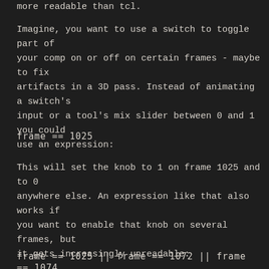more readable than tcl.
Imagine, you want to use a switch to toggle part of your comp on or off on certain frames - maybe to fix artifacts in a 3D pass. Instead of animating a switch's input or a tool's mix slider between 0 and 1 you could use an expression:
This will set the knob to 1 on frame 1025 and to 0 anywhere else. An expression like that also works if you want to enable that knob on several frames, but it gets increasingly unreadable: